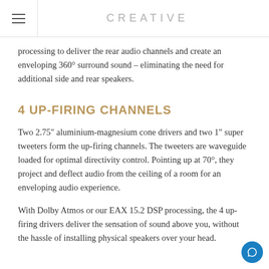CREATIVE
processing to deliver the rear audio channels and create an enveloping 360° surround sound – eliminating the need for additional side and rear speakers.
4 UP-FIRING CHANNELS
Two 2.75" aluminium-magnesium cone drivers and two 1" super tweeters form the up-firing channels. The tweeters are waveguide loaded for optimal directivity control. Pointing up at 70°, they project and deflect audio from the ceiling of a room for an enveloping audio experience.
With Dolby Atmos or our EAX 15.2 DSP processing, the 4 up-firing drivers deliver the sensation of sound above you, without the hassle of installing physical speakers over your head.